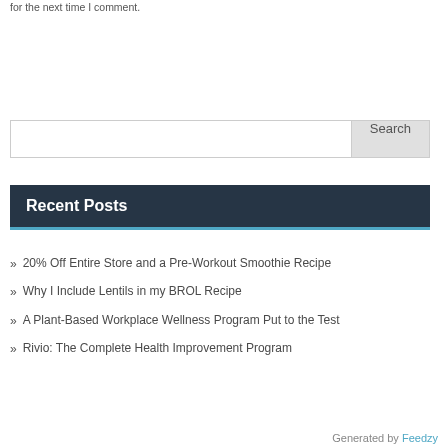for the next time I comment.
Search
Recent Posts
20% Off Entire Store and a Pre-Workout Smoothie Recipe
Why I Include Lentils in my BROL Recipe
A Plant-Based Workplace Wellness Program Put to the Test
Rivio: The Complete Health Improvement Program
Generated by Feedzy